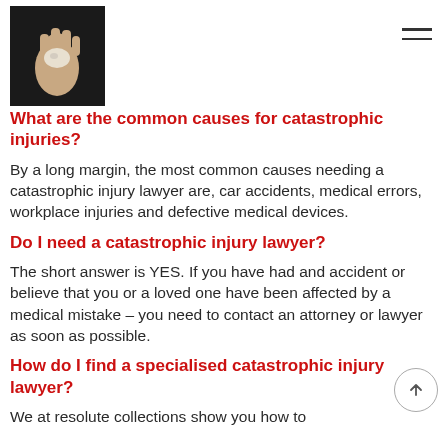[Figure (photo): Logo image showing a hand holding a small stone or pebble, against a dark background]
What are the common causes for catastrophic injuries?
By a long margin, the most common causes needing a catastrophic injury lawyer are, car accidents, medical errors, workplace injuries and defective medical devices.
Do I need a catastrophic injury lawyer?
The short answer is YES. If you have had and accident or believe that you or a loved one have been affected by a medical mistake – you need to contact an attorney or lawyer as soon as possible.
How do I find a specialised catastrophic injury lawyer?
We at resolute collections show you how to